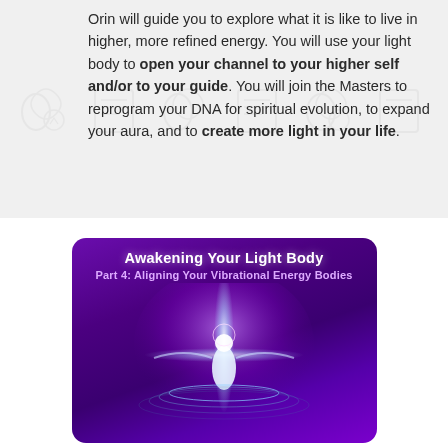Orin will guide you to explore what it is like to live in higher, more refined energy. You will use your light body to open your channel to your higher self and/or to your guide. You will join the Masters to reprogram your DNA for spiritual evolution, to expand your aura, and to create more light in your life.
[Figure (illustration): Book cover for 'Awakening Your Light Body, Part 4: Aligning Your Vibrational Energy Bodies' showing a glowing angelic figure on a purple background with radiant light beams and circular ripples at the base]